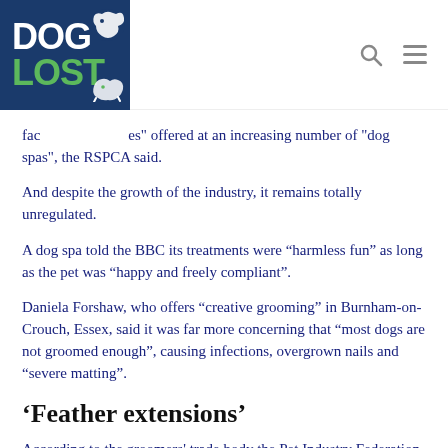DogLost logo and navigation
fac… es" offered at an increasing number of "dog spas", the RSPCA said.
And despite the growth of the industry, it remains totally unregulated.
A dog spa told the BBC its treatments were “harmless fun” as long as the pet was “happy and freely compliant”.
Daniela Forshaw, who offers “creative grooming” in Burnham-on-Crouch, Essex, said it was far more concerning that “most dogs are not groomed enough”, causing infections, overgrown nails and “severe matting”.
‘Feather extensions’
According to the groomers' trade body the Pet Industry Federation (PIF), dog spas meet the demand from some owners for the “humanisation” of their pets, while the